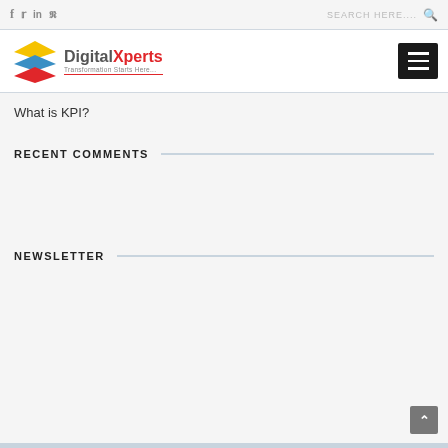f  twitter  in  pinterest   SEARCH HERE....  🔍
[Figure (logo): DigitalXperts logo with layered colored squares (yellow, blue, red) and red text reading DigitalXperts with tagline Transformation Starts Here...]
What is KPI?
RECENT COMMENTS
NEWSLETTER